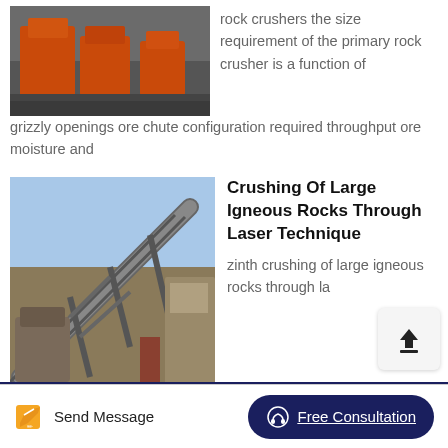[Figure (photo): Orange rock crusher machines in an industrial yard]
rock crushers the size requirement of the primary rock crusher is a function of grizzly openings ore chute configuration required throughput ore moisture and
[Figure (photo): Large industrial conveyor and crusher equipment at a mining facility]
Crushing Of Large Igneous Rocks Through Laser Technique
zinth crushing of large igneous rocks through la technique graphite stone line crusher czfrom uzbekistan crushing and melting rock us20190025198a1.